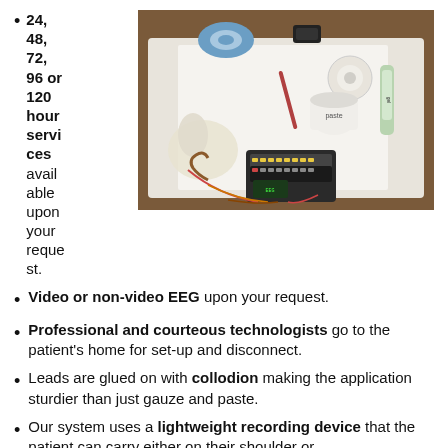24, 48, 72, 96 or 120 hour services available upon your request.
[Figure (photo): EEG equipment laid out on a white surface on a wooden table, including electrodes, wires, a recording device, gloves, tape, gel tube, and a jar of paste.]
Video or non-video EEG upon your request.
Professional and courteous technologists go to the patient's home for set-up and disconnect.
Leads are glued on with collodion making the application sturdier than just gauze and paste.
Our system uses a lightweight recording device that the patient can carry either on their shoulder or